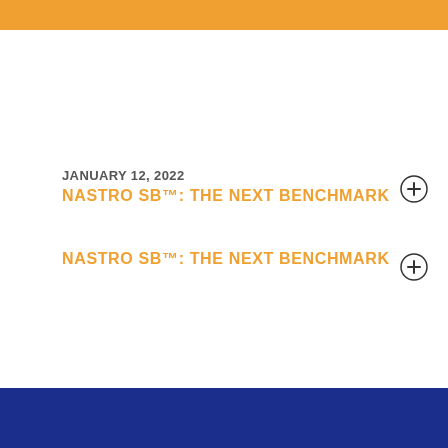JANUARY 12, 2022
NASTRO SB™: THE NEXT BENCHMARK
NASTRO SB™: THE NEXT BENCHMARK